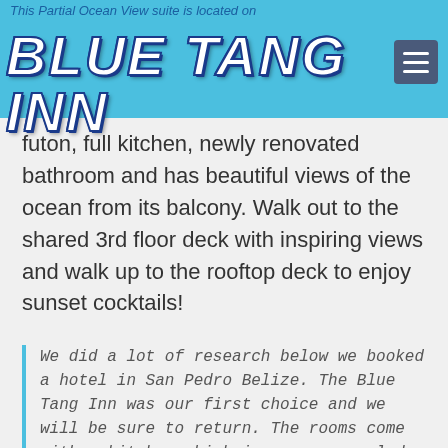This Partial Ocean View suite is located on
BLUE TANG INN
futon, full kitchen, newly renovated bathroom and has beautiful views of the ocean from its balcony. Walk out to the shared 3rd floor deck with inspiring views and walk up to the rooftop deck to enjoy sunset cocktails!
We did a lot of research below we booked a hotel in San Pedro Belize. The Blue Tang Inn was our first choice and we will be sure to return. The rooms come with a kitchen which is a save coupled with Richie's supermarket that's a 2 min walk away. It's nice that you can cook or takeaway dinner